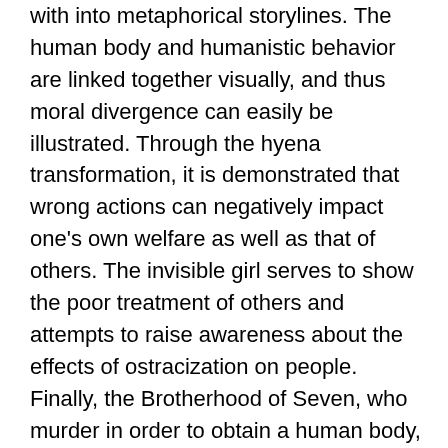with into metaphorical storylines. The human body and humanistic behavior are linked together visually, and thus moral divergence can easily be illustrated. Through the hyena transformation, it is demonstrated that wrong actions can negatively impact one's own welfare as well as that of others. The invisible girl serves to show the poor treatment of others and attempts to raise awareness about the effects of ostracization on people. Finally, the Brotherhood of Seven, who murder in order to obtain a human body, illustrate just how dangerous it is to exist on the outskirts of humanity. The demons also demonstrate the dangers of association when they cast a spell on Sid, the demon hunter, which causes him to also lose his human body. Together, these episodes work to promote normative humanity, including morally pure behavior, and by association also promote Buffy's mission to vanquish all vampires